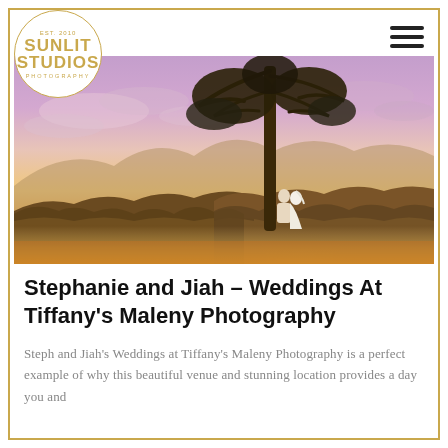[Figure (logo): Sunlit Studios Photography circular logo in gold/champagne color with text: EST. 2010, SUNLIT, STUDIOS, PHOTOGRAPHY]
[Figure (photo): Wedding couple standing under a tall tree at Tiffany's Maleny, with a dramatic pink, purple and orange sunset sky behind rolling hills and trees.]
Stephanie and Jiah – Weddings At Tiffany's Maleny Photography
Steph and Jiah's Weddings at Tiffany's Maleny Photography is a perfect example of why this beautiful venue and stunning location provides a day you and